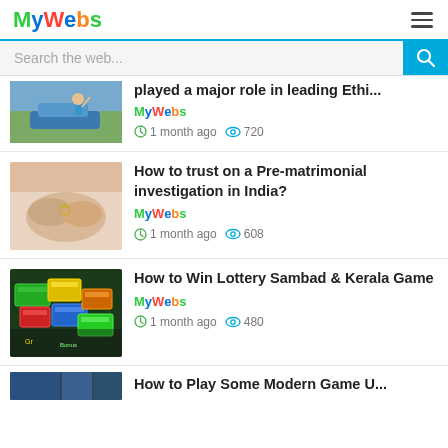MyWebs
Search the web...
played a major role in leading Ethi...
MyWebs
1 month ago  720
How to trust on a Pre-matrimonial investigation in India?
MyWebs
1 month ago  608
How to Win Lottery Sambad & Kerala Game
MyWebs
1 month ago  480
How to Play Some Modern Game U...